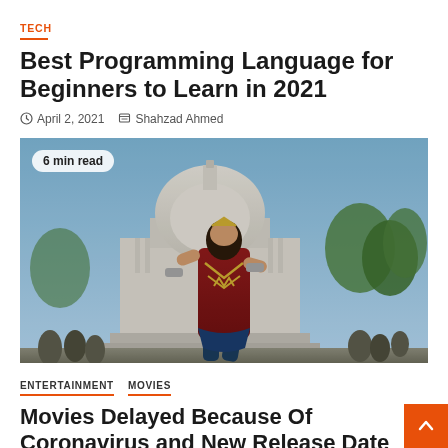TECH
Best Programming Language for Beginners to Learn in 2021
April 2, 2021  Shahzad Ahmed
[Figure (photo): Wonder Woman character running in front of the US Capitol building, with a '6 min read' badge overlay]
ENTERTAINMENT  MOVIES
Movies Delayed Because Of Coronavirus and New Release Date